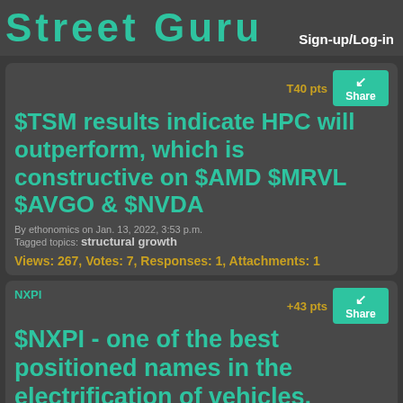Street Guru  Sign-up/Log-in
T40 pts
$TSM results indicate HPC will outperform, which is constructive on $AMD $MRVL $AVGO & $NVDA
By ethonomics on Jan. 13, 2022, 3:53 p.m.
Tagged topics: structural growth
Views: 267, Votes: 7, Responses: 1, Attachments: 1
NXPI
+43 pts
$NXPI - one of the best positioned names in the electrification of vehicles, driven by the structural growth of semiconductor content